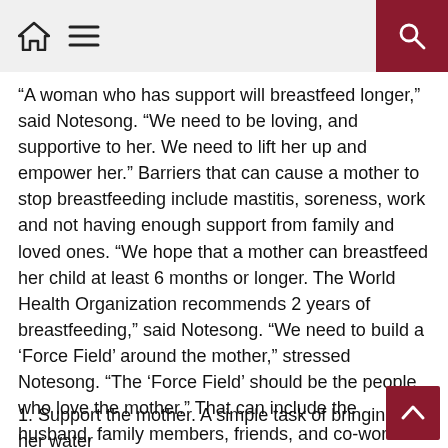[home icon] [menu icon] [search icon]
[partial heading text — clipped at top]
“A woman who has support will breastfeed longer,” said Notesong. “We need to be loving, and supportive to her. We need to lift her up and empower her.” Barriers that can cause a mother to stop breastfeeding include mastitis, soreness, work and not having enough support from family and loved ones. “We hope that a mother can breastfeed her child at least 6 months or longer. The World Health Organization recommends 2 years of breastfeeding,” said Notesong. “We need to build a ‘Force Field’ around the mother,” stressed Notesong. “The ‘Force Field’ should be the people who love the mother.” That can include the husband, family members, friends, and co-workers. How can we build that ‘Force Field’?
1. Support the mother. A simple task of bringing her water